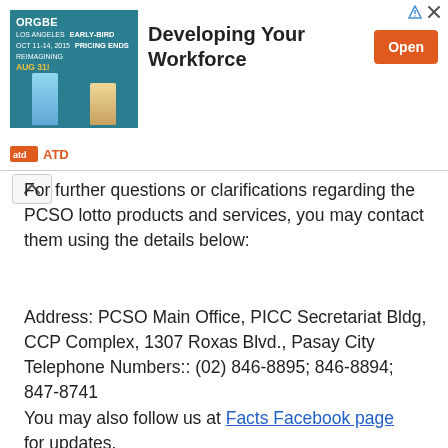[Figure (screenshot): ATD advertisement banner: ORGBE early-bird pricing ends Aug 31, Developing Your Workforce, Open button]
For further questions or clarifications regarding the PCSO lotto products and services, you may contact them using the details below:
Address: PCSO Main Office, PICC Secretariat Bldg, CCP Complex, 1307 Roxas Blvd., Pasay City Telephone Numbers:: (02) 846-8895; 846-8894; 847-8741
You may also follow us at Facts Facebook page for updates.